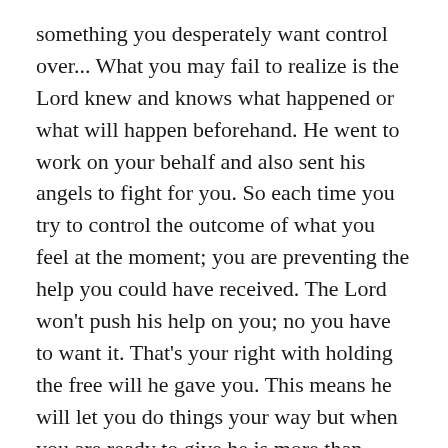something you desperately want control over... What you may fail to realize is the Lord knew and knows what happened or what will happen beforehand. He went to work on your behalf and also sent his angels to fight for you. So each time you try to control the outcome of what you feel at the moment; you are preventing the help you could have received. The Lord won't push his help on you; no you have to want it. That's your right with holding the free will he gave you. This means he will let you do things your way but when you are ready to give he is more than ready to take...
If you are in an emotional prison of pain, offer up each upset you hold until there is no more upset to offer. Don't take back, what you gave away. Stop focusing on yourself and what you feel. Half of what you routinely